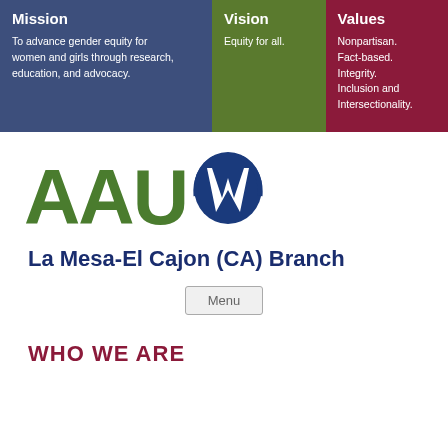Mission: To advance gender equity for women and girls through research, education, and advocacy.
Vision: Equity for all.
Values: Nonpartisan. Fact-based. Integrity. Inclusion and Intersectionality.
[Figure (logo): AAUW logo with green AAU text and blue W emblem]
La Mesa-El Cajon (CA) Branch
Menu
WHO WE ARE